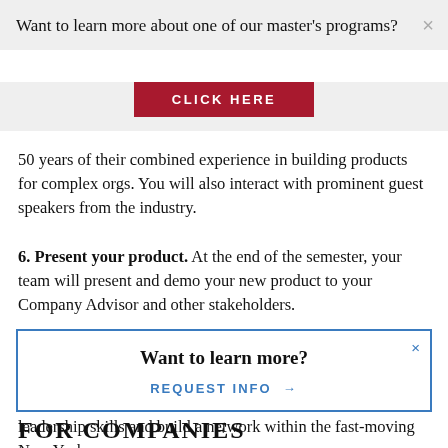Want to learn more about one of our master’s programs?
[Figure (other): Red button labeled CLICK HERE]
50 years of their combined experience in building products for complex orgs. You will also interact with prominent guest speakers from the industry.
6. Present your product. At the end of the semester, your team will present and demo your new product to your Company Advisor and other stakeholders.
7. Take it with you. The primary goal of BigCo Studio is to provide you with skills and experience to build products at a big company. You will also get to hone your teamwork and leadership skills and build a network within the fast-moving New York
Want to learn more?
REQUEST INFO →
FOR COMPANIES